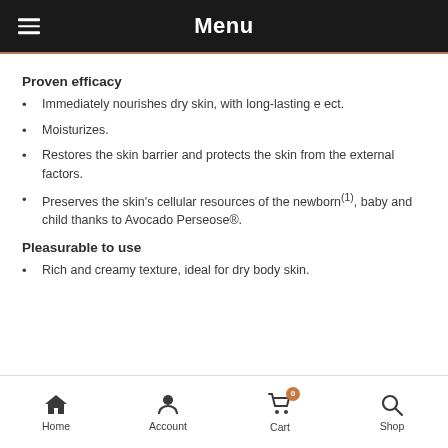Menu
Proven efficacy
Immediately nourishes dry skin, with long-lasting e ect.
Moisturizes.
Restores the skin barrier and protects the skin from the external factors.
Preserves the skin's cellular resources of the newborn(1), baby and child thanks to Avocado Perseose®.
Pleasurable to use
Rich and creamy texture, ideal for dry body skin.
Home  Account  Cart  Shop